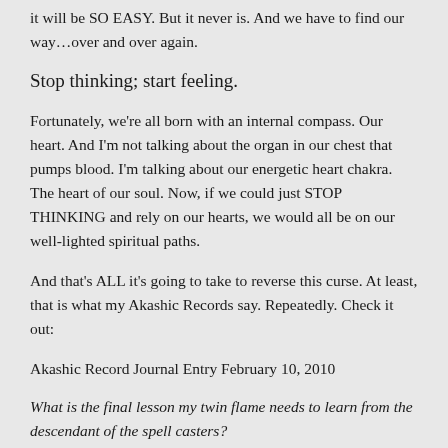it will be SO EASY. But it never is. And we have to find our way…over and over again.
Stop thinking; start feeling.
Fortunately, we're all born with an internal compass. Our heart. And I'm not talking about the organ in our chest that pumps blood. I'm talking about our energetic heart chakra. The heart of our soul. Now, if we could just STOP THINKING and rely on our hearts, we would all be on our well-lighted spiritual paths.
And that's ALL it's going to take to reverse this curse. At least, that is what my Akashic Records say. Repeatedly. Check it out:
Akashic Record Journal Entry February 10, 2010
What is the final lesson my twin flame needs to learn from the descendant of the spell casters?